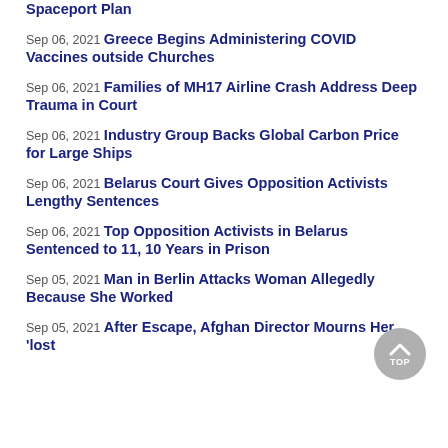Spaceport Plan
Sep 06, 2021 Greece Begins Administering COVID Vaccines outside Churches
Sep 06, 2021 Families of MH17 Airline Crash Address Deep Trauma in Court
Sep 06, 2021 Industry Group Backs Global Carbon Price for Large Ships
Sep 06, 2021 Belarus Court Gives Opposition Activists Lengthy Sentences
Sep 06, 2021 Top Opposition Activists in Belarus Sentenced to 11, 10 Years in Prison
Sep 05, 2021 Man in Berlin Attacks Woman Allegedly Because She Worked
Sep 05, 2021 After Escape, Afghan Director Mourns Her 'lost